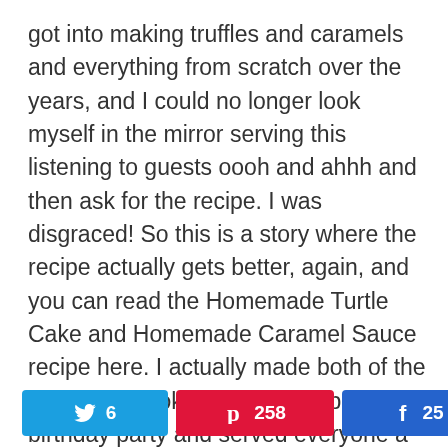got into making truffles and caramels and everything from scratch over the years, and I could no longer look myself in the mirror serving this listening to guests oooh and ahhh and then ask for the recipe. I was disgraced! So this is a story where the recipe actually gets better, again, and you can read the Homemade Turtle Cake and Homemade Caramel Sauce recipe here. I actually made both of the cakes and took them to a gal pal's birthday party and served everyone a piece of each for a blind tasting. Which was best, and why? I was completely prepared for them to say this one: The Cheater Cake! However, only one
Social share bar: Twitter 6, Pinterest 258, Facebook 25, Total 289 SHARES